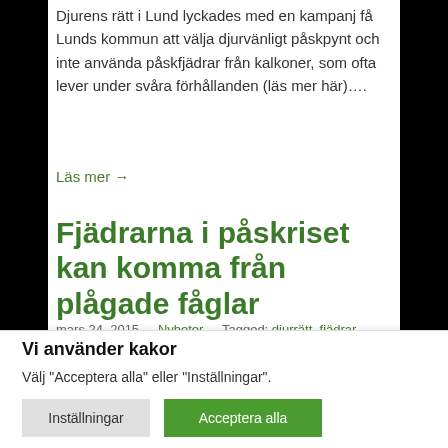Djurens rätt i Lund lyckades med en kampanj få Lunds kommun att välja djurvänligt påskpynt och inte använda påskfjädrar från kalkoner, som ofta lever under svåra förhållanden (läs mer här)….
Läs mer →
Fjädrarna i påskriset kan komma från plågade fåglar
mars 24, 2015  -  Nyheter  -  Tagged: djurrätt, fjädrar, kalkon, kalkonuppfödning, påsk, påskris
Fjädrarna som används i påsk är inte syntetiska.
Vi använder kakor
Välj "Acceptera alla" eller "Inställningar".
Inställningar
Acceptera alla